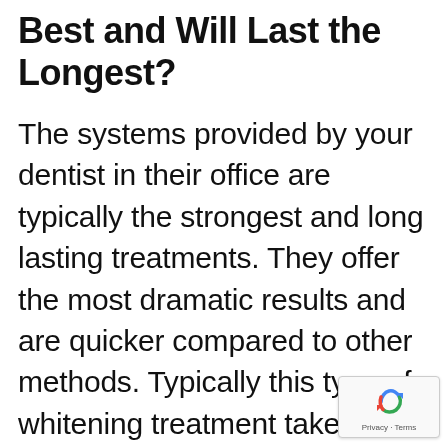Best and Will Last the Longest?
The systems provided by your dentist in their office are typically the strongest and long lasting treatments. They offer the most dramatic results and are quicker compared to other methods. Typically this type of whitening treatment takes less than an hour, and uses a light to activate the gel to penetrate deeply into your teeth. Once you have